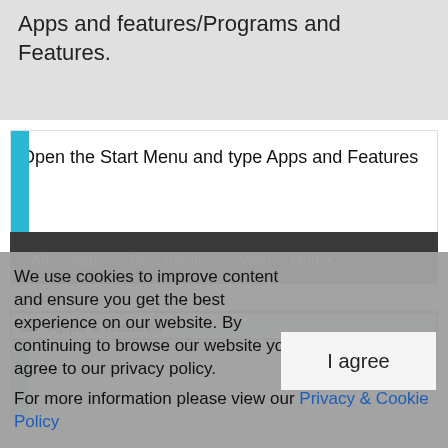Apps and features/Programs and Features.
Open the Start Menu and type Apps and Features
[Figure (screenshot): Windows search bar showing All, Apps, Documents, Web, More tabs with Best match result showing Apps & features highlighted in blue with red border outline]
We use cookies to improve content and ensure you get the best experience on our website. By continuing to browse our website you agree to our privacy policy.
For more information please view our Privacy & Cookie Policy